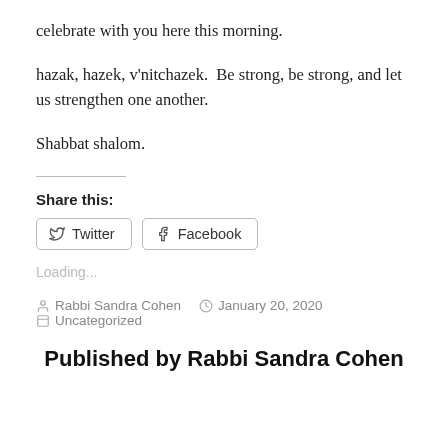celebrate with you here this morning.
hazak, hazek, v'nitchazek.  Be strong, be strong, and let us strengthen one another.
Shabbat shalom.
Share this:
Twitter  Facebook
Loading...
Rabbi Sandra Cohen   January 20, 2020   Uncategorized
Published by Rabbi Sandra Cohen